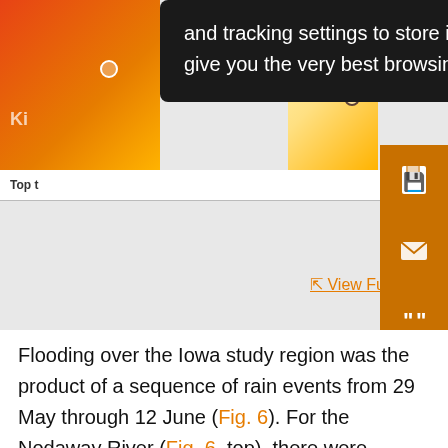[Figure (screenshot): A webpage screenshot showing a cookie/tracking consent tooltip overlay in dark background with text 'and tracking settings to store information that help give you the very best browsing experience.' overlaid on a data visualization. An orange sidebar with icons (save, email, quote, annotation, share) is visible on the right. Partial map/figure images visible in corners.]
Flooding over the Iowa study region was the product of a sequence of rain events from 29 May through 12 June (Fig. 6). For the Nodaway River (Fig. 6, top), there were